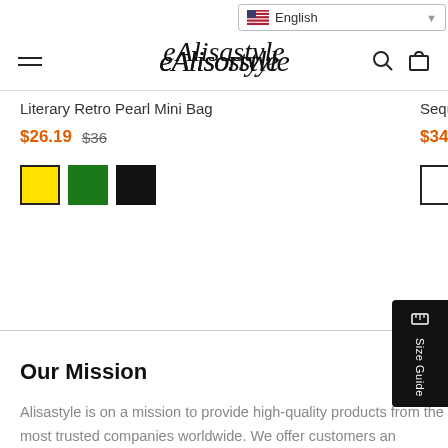English — Alisastyle navigation header
Literary Retro Pearl Mini Bag
$26.19  $36
Sequined Sh
$34.56  $50
Our Mission
Alisastyle is on a mission to provide high-quality products from the most trusted companies worldwide. We offer customers an inspiring place to discover the latest and most-wanted products at fantastic prices, and continually keep an eye on catering your fashion needs and optimising your shopping